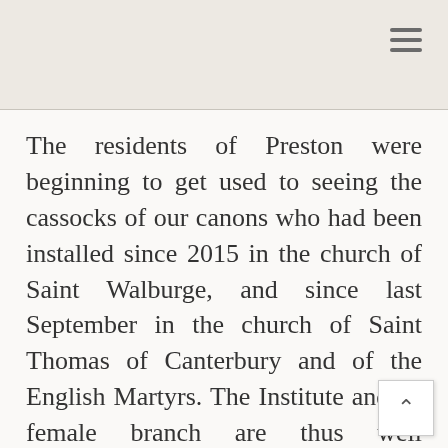The residents of Preston were beginning to get used to seeing the cassocks of our canons who had been installed since 2015 in the church of Saint Walburge, and since last September in the church of Saint Thomas of Canterbury and of the English Martyrs. The Institute and its female branch are thus well represented now in this city of 130,000 inhabitants in Lancashire County.

To celebrate this installation, His Excellency did us the honor of